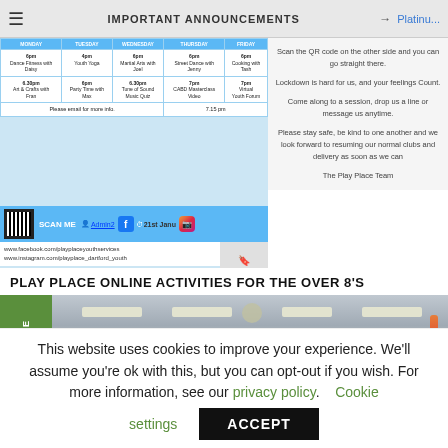IMPORTANT ANNOUNCEMENTS → Platinu...
[Figure (screenshot): Play Place Online Activities schedule table with days of week and activity times, scan QR code bar with Facebook and Instagram icons, and URL bar]
Scan the QR code on the other side and you can go straight there.

Lockdown is hard for us, and your feelings Count.

Come along to a session, drop us a line or message us anytime.

Please stay safe, be kind to one another and we look forward to resuming our normal clubs and delivery as soon as we can

The Play Place Team
PLAY PLACE ONLINE ACTIVITIES FOR THE OVER 8'S
[Figure (photo): Interior photo of a hall or community room with ceiling lights, exposed ceiling, dark partition panels and equipment visible]
This website uses cookies to improve your experience. We'll assume you're ok with this, but you can opt-out if you wish. For more information, see our privacy policy. Cookie settings ACCEPT